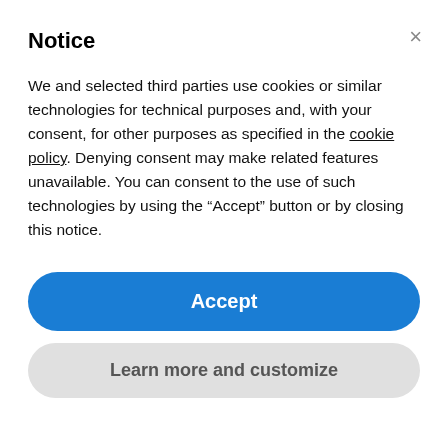Notice
We and selected third parties use cookies or similar technologies for technical purposes and, with your consent, for other purposes as specified in the cookie policy. Denying consent may make related features unavailable. You can consent to the use of such technologies by using the “Accept” button or by closing this notice.
Accept
Learn more and customize
Best Film Opening: